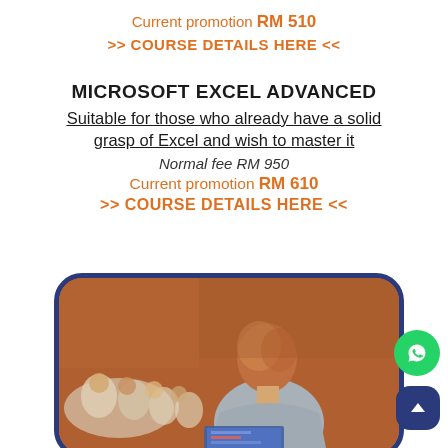Current promotion RM 510
>> COURSE DETAILS HERE <<
MICROSOFT EXCEL ADVANCED
Suitable for those who already have a solid grasp of Excel and wish to master it
Normal fee RM 950
Current promotion RM 610
>> COURSE DETAILS HERE <<
[Figure (photo): Instructor seen from behind addressing an audience in a classroom/conference setting, with a laptop screen visible]